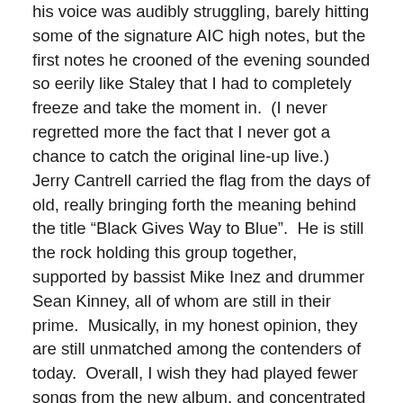his voice was audibly struggling, barely hitting some of the signature AIC high notes, but the first notes he crooned of the evening sounded so eerily like Staley that I had to completely freeze and take the moment in.  (I never regretted more the fact that I never got a chance to catch the original line-up live.)  Jerry Cantrell carried the flag from the days of old, really bringing forth the meaning behind the title “Black Gives Way to Blue”.  He is still the rock holding this group together, supported by bassist Mike Inez and drummer Sean Kinney, all of whom are still in their prime.  Musically, in my honest opinion, they are still unmatched among the contenders of today.  Overall, I wish they had played fewer songs from the new album, and concentrated on the songs the true fans came to hear.  There weren’t many that they didn’t play, but the few missing hits were noticed and lamented.